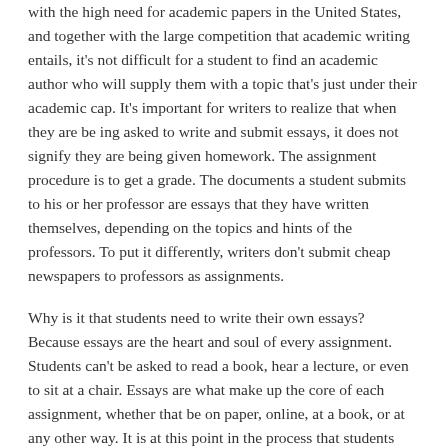with the high need for academic papers in the United States, and together with the large competition that academic writing entails, it's not difficult for a student to find an academic author who will supply them with a topic that's just under their academic cap. It's important for writers to realize that when they are be ing asked to write and submit essays, it does not signify they are being given homework. The assignment procedure is to get a grade. The documents a student submits to his or her professor are essays that they have written themselves, depending on the topics and hints of the professors. To put it differently, writers don't submit cheap newspapers to professors as assignments.
Why is it that students need to write their own essays? Because essays are the heart and soul of every assignment. Students can't be asked to read a book, hear a lecture, or even to sit at a chair. Essays are what make up the core of each assignment, whether that be on paper, online, at a book, or at any other way. It is at this point in the process that students must determine what they are attempting to write, how they're attaining the information, what they wish to attain from the experience, and the way they wish to